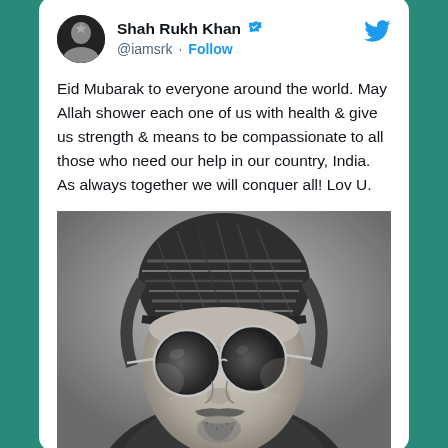[Figure (screenshot): Twitter/X screenshot of a tweet by Shah Rukh Khan (@iamsrk) with verified badge, showing a tweet with text about Eid Mubarak and a black-and-white close-up photo of a man wearing round sunglasses and a patterned headscarf]
Shah Rukh Khan @iamsrk · Follow
Eid Mubarak to everyone around the world. May Allah shower each one of us with health & give us strength & means to be compassionate to all those who need our help in our country, India. As always together we will conquer all! Lov U.
[Figure (photo): Black and white close-up portrait of a man wearing round wire-frame sunglasses and a patterned headscarf/bandana, with a mustache and beard]